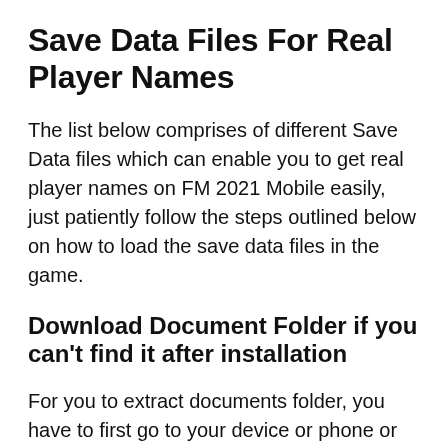Save Data Files For Real Player Names
The list below comprises of different Save Data files which can enable you to get real player names on FM 2021 Mobile easily, just patiently follow the steps outlined below on how to load the save data files in the game.
Download Document Folder if you can't find it after installation
For you to extract documents folder, you have to first go to your device or phone or Internal Memory, find the documents folder, click on it, then finally Extract it and